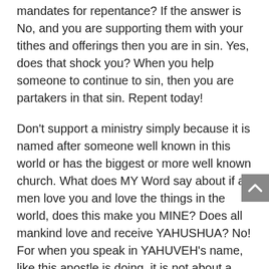mandates for repentance? If the answer is No, and you are supporting them with your tithes and offerings then you are in sin. Yes, does that shock you? When you help someone to continue to sin, then you are partakers in that sin. Repent today!
Don't support a ministry simply because it is named after someone well known in this world or has the biggest or more well known church. What does MY Word say about if all men love you and love the things in the world, does this make you MINE? Does all mankind love and receive YAHUSHUA? No! For when you speak in YAHUVEH's name, like this apostle is doing, it is not about a popularity contest. MY true apostles and prophets will lose in the world's eyes; they go in lack many times as satan lies to the people I have raised up to ease the financial, emotional and physical burdens. MY own children shut out MY voice telling them to help, love, and support, the few brave, and